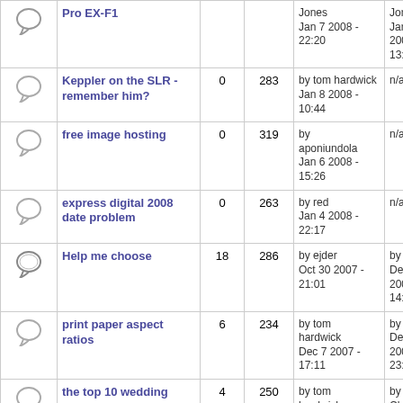|  | Topic | Replies | Views | Posted | Last Post |
| --- | --- | --- | --- | --- | --- |
| [icon] | Pro EX-F1 |  |  | Jones
Jan 7 2008 - 22:20 | Jones
Jan 10 2008 - 13:18 |
| [icon] | Keppler on the SLR - remember him? | 0 | 283 | by tom hardwick
Jan 8 2008 - 10:44 | n/a |
| [icon] | free image hosting | 0 | 319 | by aponiundola
Jan 6 2008 - 15:26 | n/a |
| [icon] | express digital 2008 date problem | 0 | 263 | by red
Jan 4 2008 - 22:17 | n/a |
| [icon] | Help me choose | 18 | 286 | by ejder
Oct 30 2007 - 21:01 | by ejder
Dec 16 2007 - 14:55 |
| [icon] | print paper aspect ratios | 6 | 234 | by tom hardwick
Dec 7 2007 - 17:11 | by Chris.
Dec 11 2007 - 23:36 |
| [icon] | the top 10 wedding photographers | 4 | 250 | by tom hardwick
Dec 6 2007 - 21:43 | by Z Cheema
Dec 7 2007 - 11:47 |